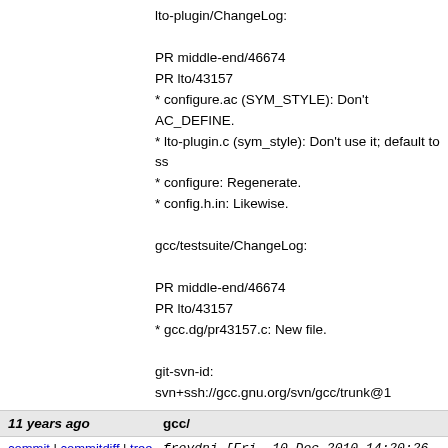lto-plugin/ChangeLog:

PR middle-end/46674
PR lto/43157
* configure.ac (SYM_STYLE): Don't AC_DEFINE.
* lto-plugin.c (sym_style): Don't use it; default to ss
* configure: Regenerate.
* config.h.in: Likewise.

gcc/testsuite/ChangeLog:

PR middle-end/46674
PR lto/43157
* gcc.dg/pr43157.c: New file.

git-svn-id: svn+ssh://gcc.gnu.org/svn/gcc/trunk@1
11 years ago   gcc/
commit | commitdiff | tree   froydnj [Fri, 10 Dec 2010 14:20:26 +0000
gcc/
* c-typeck.c (readonly_error): Delete.

gcc/c-family/
* c-common.h (readonly_error): Declare.
* c-common.c (readonly_error): Define.

gcc/cp/